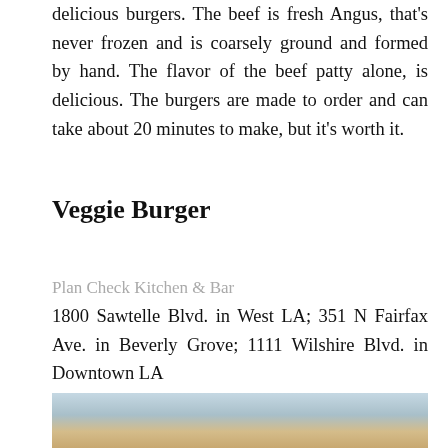delicious burgers. The beef is fresh Angus, that's never frozen and is coarsely ground and formed by hand. The flavor of the beef patty alone, is delicious. The burgers are made to order and can take about 20 minutes to make, but it's worth it.
Veggie Burger
Plan Check Kitchen & Bar
1800 Sawtelle Blvd. in West LA; 351 N Fairfax Ave. in Beverly Grove; 1111 Wilshire Blvd. in Downtown LA
[Figure (photo): Photo of a burger dish, partially visible at the bottom of the page]